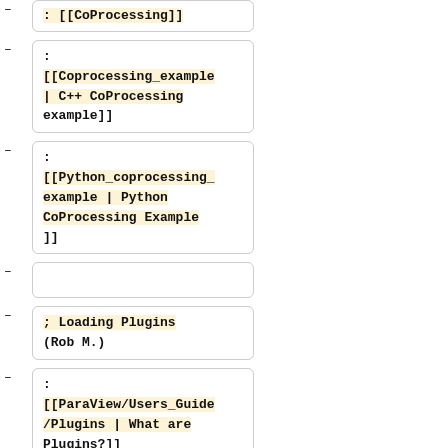– : [[CoProcessing]]
– : [[Coprocessing_example | C++ CoProcessing example]]
– : [[Python_coprocessing_example | Python CoProcessing Example ]]
–
– ; Loading Plugins (Rob M.)
– : [[ParaView/Users_Guide/Plugins | What are Plugins?]]
– ::<!-